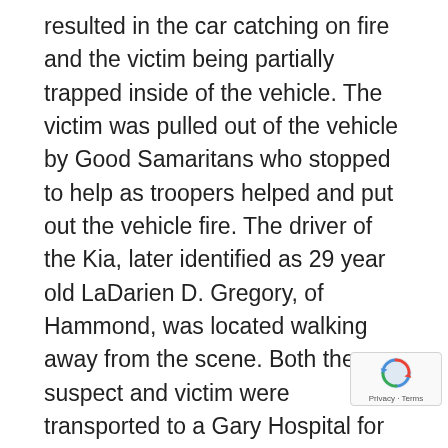resulted in the car catching on fire and the victim being partially trapped inside of the vehicle. The victim was pulled out of the vehicle by Good Samaritans who stopped to help as troopers helped and put out the vehicle fire. The driver of the Kia, later identified as 29 year old LaDarien D. Gregory, of Hammond, was located walking away from the scene. Both the suspect and victim were transported to a Gary Hospital for treatment. The driver of the semi was not injured. The victim was later flown to Loyola University Hospital for treatment of serious injuries. The suspect has since been released and transported to the Lake County Jail. Gregory being held on a probable cause hold for charges to be determined by the Lake County Prosecutor.
[Figure (other): reCAPTCHA badge with rotating arrows icon and Privacy - Terms text]